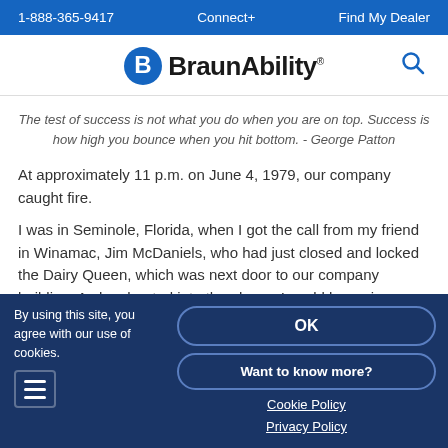1-888-365-9417   Connect+   Find My Dealer
[Figure (logo): BraunAbility logo with stylized B icon in blue and search icon]
The test of success is not what you do when you are on top. Success is how high you bounce when you hit bottom. - George Patton
At approximately 11 p.m. on June 4, 1979, our company caught fire.
I was in Seminole, Florida, when I got the call from my friend in Winamac, Jim McDaniels, who had just closed and locked the Dairy Queen, which was next door to our company building. As he shouted into the phone, I could hear sirens wailing, horns blasting, and people yelling in the background.
By using this site, you agree with our use of cookies.
OK
Want to know more?
Cookie Policy
Privacy Policy